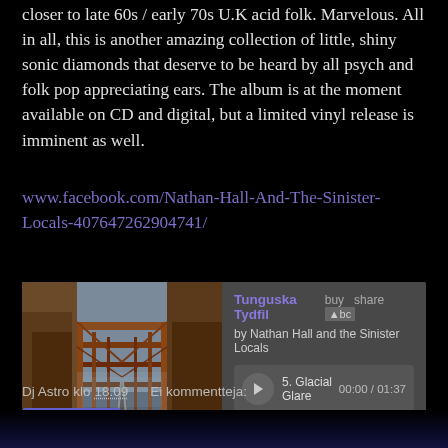closer to late 60s / early 70s U.K acid folk. Marvelous. All in all, this is another amazing collection of little, shiny sonic diamonds that deserve to be heard by all psych and folk pop appreciating ears. The album is at the moment available on CD and digital, but a limited vinyl release is imminent as well.
www.facebook.com/Nathan-Hall-And-The-Sinister-Locals-407647262904741/
[Figure (screenshot): Bandcamp music player widget showing Tunguska Tydfil album by Nathan Hall and the Sinister Locals. Track 5 Glacial Glare is shown with time 00:00 / 01:37. Album art shows a railway bridge/tracks perspective photo.]
Dj Astro klo 18.09    Ei kommentteja:
Jaa muille